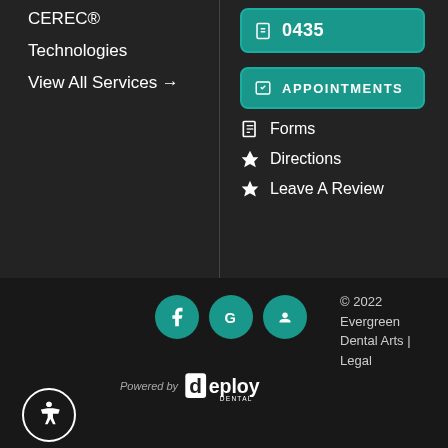CEREC®
Technologies
View All Services →
0435 (phone button)
APPOINTMENTS
Forms
Directions
Leave A Review
© 2022 Evergreen Dental Arts | Legal
[Figure (logo): Powered by Deploy Dental logo]
[Figure (infographic): Accessibility icon circle button]
[Figure (infographic): Social media icons: Facebook, Google, Yelp circles]